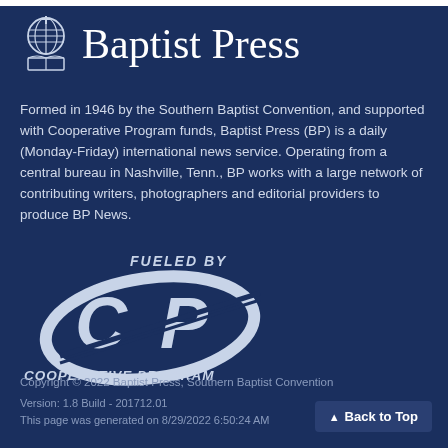[Figure (logo): Baptist Press logo with globe/cross icon and serif wordmark 'Baptist Press']
Formed in 1946 by the Southern Baptist Convention, and supported with Cooperative Program funds, Baptist Press (BP) is a daily (Monday-Friday) international news service. Operating from a central bureau in Nashville, Tenn., BP works with a large network of contributing writers, photographers and editorial providers to produce BP News.
[Figure (logo): Fueled By Cooperative Program logo with stylized CP letters in swoosh design]
Copyright © 2022 Baptist Press, Southern Baptist Convention
Version: 1.8 Build - 201712.01
This page was generated on 8/29/2022 6:50:24 AM